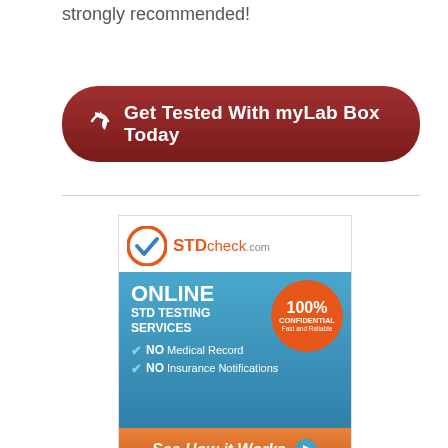strongly recommended!
[Figure (illustration): Dark red rounded button with arrow icon and text: Get Tested With myLab Box Today]
[Figure (infographic): STDcheck.com advertisement banner: orange and blue STD check logo at top, blue background section with ONLINE STD TESTING SERVICES text, orange circle badge with 100% CONFIDENTIAL Fast and Reliable, checkmark items NO Medical Record / NO Insurance Notifications, orange See How it Works button at bottom]